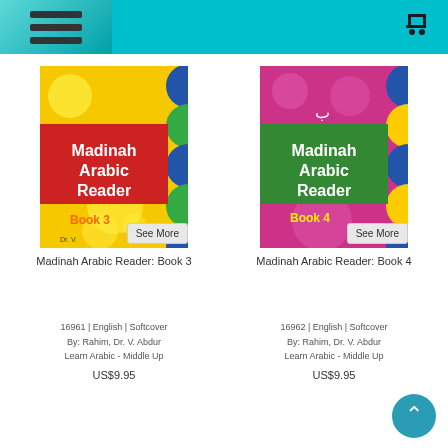[Figure (screenshot): Navigation bar with hamburger menu on left and shopping cart icon on right, teal/cyan background]
[Figure (photo): Book cover: Madinah Arabic Reader Book 3, yellow background with circles, red title banner, green and blue decorative elements]
Madinah Arabic Reader: Book 3
16961 | English | Softcover
By: Rahim, Dr. V. Abdur
Learn Arabic - Middle Up
US$9.95
[Figure (photo): Book cover: Madinah Arabic Reader Book 4, pink/magenta background with circles, green title banner, blue and yellow decorative elements]
Madinah Arabic Reader: Book 4
16962 | English | Softcover
By: Rahim, Dr. V. Abdur
Learn Arabic - Middle Up
US$9.95